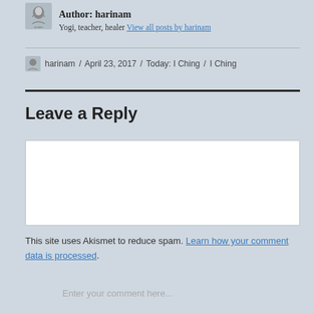Author: harinam — Yogi, teacher, healer View all posts by harinam
harinam / April 23, 2017 / Today: I Ching / I Ching
Leave a Reply
Enter your comment here...
This site uses Akismet to reduce spam. Learn how your comment data is processed.